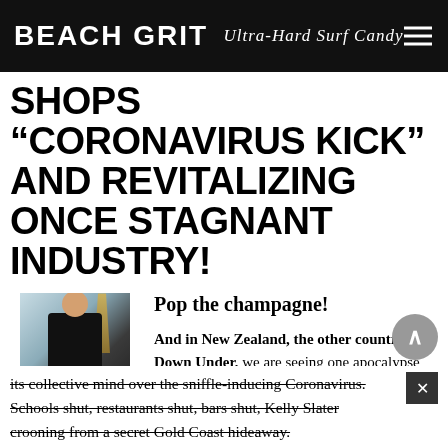BEACH GRIT Ultra-Hard Surf Candy
SHOPS “CORONAVIRUS KICK” AND REVITALIZING ONCE STAGNANT INDUSTRY!
[Figure (photo): Author photo of Chas Smith standing outdoors with palm tree in background]
By Chas Smith
2 years ago
Pop the champagne!
And in New Zealand, the other country Down Under, we are seeing one apocalypse wane as another apocalypse waxes. You are, by now, aware that the entire globe has lost its collective mind over the sniffle-inducing Coronavirus. Schools shut, restaurants shut, bars shut, Kelly Slater crooning from a secret Gold Coast hideaway.